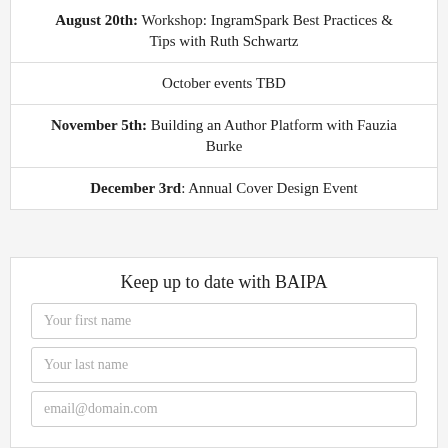August 20th: Workshop: IngramSpark Best Practices & Tips with Ruth Schwartz
October events TBD
November 5th: Building an Author Platform with Fauzia Burke
December 3rd: Annual Cover Design Event
Keep up to date with BAIPA
Your first name
Your last name
email@domain.com